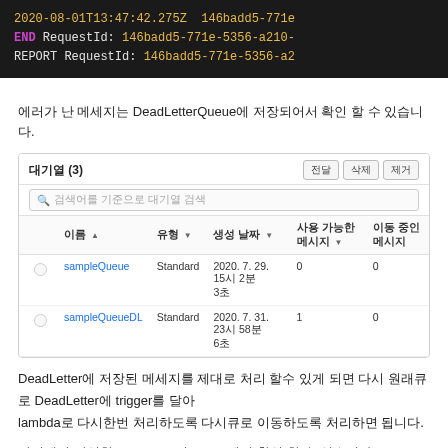[Figure (screenshot): Terminal/log output showing AWS Lambda request log lines with timestamps and RequestId in dark background. Lines: '2020-08-01T13:47:42.275Z  146badd5-771e...', 'END RequestId: 146badd5-771e-5356-a210-...', 'REPORT RequestId: 146badd5-771e-5356-a2...']
에러가 난 메세지는 DeadLetterQueue에 저장되어서 확인 할 수 있습니다.
| 이름 | 유형 | 생성 날짜 | 사용 가능한 메시지 | 이동 중인 메시지 |
| --- | --- | --- | --- | --- |
| sampleQueue | Standard | 2020. 7. 29. 15시 2분 3초 | 0 | 0 |
| sampleQueueDL | Standard | 2020. 7. 31. 23시 58분 6초 | 1 | 0 |
DeadLetter에 저장된 메세지를 제대로 처리 할수 있게 되면 다시 원래큐로 DeadLetter에 trigger를 달아 lambda로 다시한번 처리하도록 다시큐로 이동하도록 처리하면 됩니다.
관련해서 작성한 소스 코드 및 github에서 확인 할 수 있습니다.
https://github.com/codej99/LambdaTriggerSQS